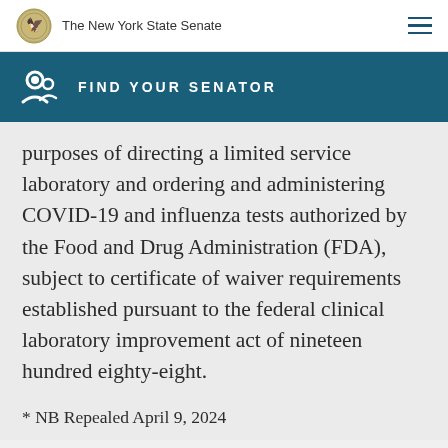The New York State Senate
FIND YOUR SENATOR
purposes of directing a limited service laboratory and ordering and administering COVID-19 and influenza tests authorized by the Food and Drug Administration (FDA), subject to certificate of waiver requirements established pursuant to the federal clinical laboratory improvement act of nineteen hundred eighty-eight.
* NB Repealed April 9, 2024